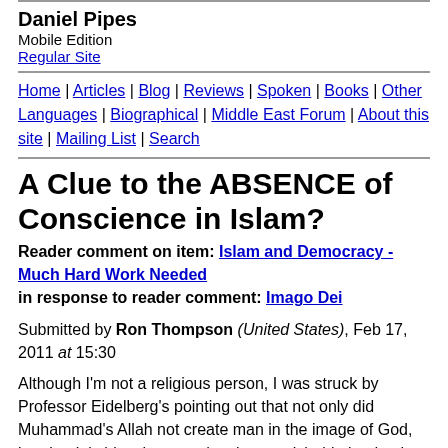Daniel Pipes
Mobile Edition
Regular Site
Home | Articles | Blog | Reviews | Spoken | Books | Other Languages | Biographical | Middle East Forum | About this site | Mailing List | Search
A Clue to the ABSENCE of Conscience in Islam?
Reader comment on item: Islam and Democracy - Much Hard Work Needed
in response to reader comment: Imago Dei
Submitted by Ron Thompson (United States), Feb 17, 2011 at 15:30
Although I'm not a religious person, I was struck by Professor Eidelberg's pointing out that not only did Muhammad's Allah not create man in the image of God, but that it is blasphemous (a crime punishable by death throughout Islamic history) to claim or suggest that he did.
The thought arises – because of this rendering of God/Allah